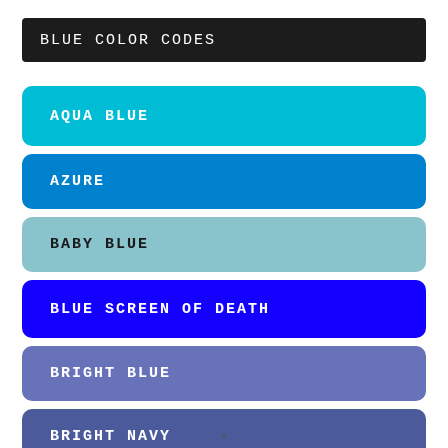BLUE COLOR CODES
AQUA BLUE
AZURE
BABY BLUE
BLUE SCREEN OF DEATH
BRIGHT BLUE
BRIGHT NAVY
×